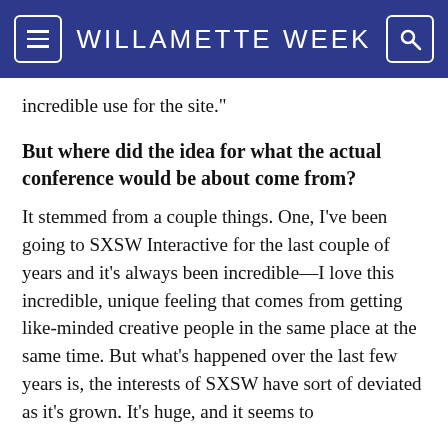WILLAMETTE WEEK
incredible use for the site."
But where did the idea for what the actual conference would be about come from?
It stemmed from a couple things. One, I've been going to SXSW Interactive for the last couple of years and it's always been incredible—I love this incredible, unique feeling that comes from getting like-minded creative people in the same place at the same time. But what's happened over the last few years is, the interests of SXSW have sort of deviated as it's grown. It's huge, and it seems to